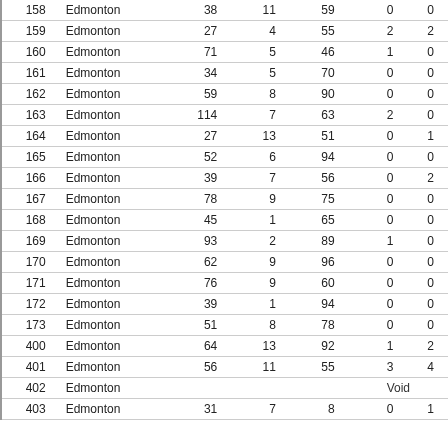| 158 | Edmonton | 38 | 11 | 59 | 0 | 0 |
| 159 | Edmonton | 27 | 4 | 55 | 2 | 2 |
| 160 | Edmonton | 71 | 5 | 46 | 1 | 0 |
| 161 | Edmonton | 34 | 5 | 70 | 0 | 0 |
| 162 | Edmonton | 59 | 8 | 90 | 0 | 0 |
| 163 | Edmonton | 114 | 7 | 63 | 2 | 0 |
| 164 | Edmonton | 27 | 13 | 51 | 0 | 1 |
| 165 | Edmonton | 52 | 6 | 94 | 0 | 0 |
| 166 | Edmonton | 39 | 7 | 56 | 0 | 2 |
| 167 | Edmonton | 78 | 9 | 75 | 0 | 0 |
| 168 | Edmonton | 45 | 1 | 65 | 0 | 0 |
| 169 | Edmonton | 93 | 2 | 89 | 1 | 0 |
| 170 | Edmonton | 62 | 9 | 96 | 0 | 0 |
| 171 | Edmonton | 76 | 9 | 60 | 0 | 0 |
| 172 | Edmonton | 39 | 1 | 94 | 0 | 0 |
| 173 | Edmonton | 51 | 8 | 78 | 0 | 0 |
| 400 | Edmonton | 64 | 13 | 92 | 1 | 2 |
| 401 | Edmonton | 56 | 11 | 55 | 3 | 4 |
| 402 | Edmonton |  |  |  | Void |  |
| 403 | Edmonton | 31 | 7 | 8 | 0 | 1 |